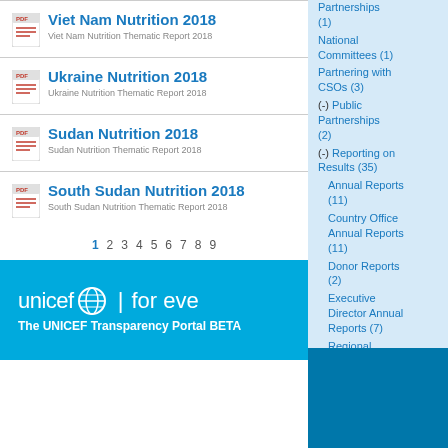Viet Nam Nutrition 2018 — Viet Nam Nutrition Thematic Report 2018
Ukraine Nutrition 2018 — Ukraine Nutrition Thematic Report 2018
Sudan Nutrition 2018 — Sudan Nutrition Thematic Report 2018
South Sudan Nutrition 2018 — South Sudan Nutrition Thematic Report 2018
1 2 3 4 5 6 7 8 9
Partnerships (1) National Committees (1) Partnering with CSOs (3) (-) Public Partnerships (2) (-) Reporting on Results (35) Annual Reports (11) Country Office Annual Reports (11) Donor Reports (2) Executive Director Annual Reports (7) Regional Results Reports (2) The State of th...
[Figure (logo): UNICEF logo with globe icon followed by 'for eve' text and tagline 'The UNICEF Transparency Portal BETA']